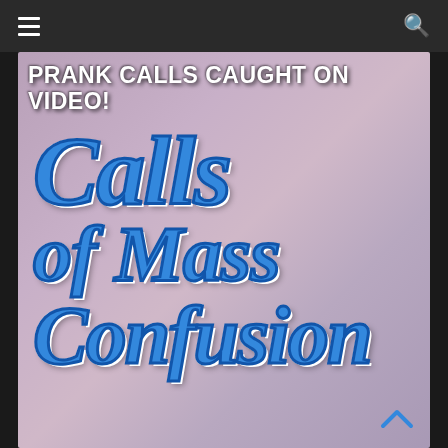[Figure (screenshot): Website screenshot showing a navigation bar with hamburger menu and search icon at top, and below it a promotional image with a purple/mauve gradient background showing the text 'PRANK CALLS CAUGHT ON VIDEO!' in bold white letters at top, and large bold blue italic text reading 'CALLS OF MASS CONFUSION' styled to resemble phone handsets forming the letters C, with white outline and dark blue stroke.]